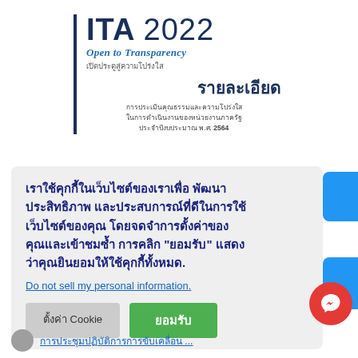[Figure (logo): ITA 2022 Open to Transparency logo with Thai text and detail subtitle]
เราใช้คุกกี้ในเว็บไซต์ของเราเพื่อพัฒนาประสิทธิภาพ และประสบการณ์ที่ดีในการใช้เว็บไซต์ของคุณ โดยจดจำการตั้งค่าของคุณและเข้าชมซ้ำ การคลิก "ยอมรับ" แสดงว่าคุณยินยอมให้ใช้คุกกี้ทั้งหมด.
Do not sell my personal information.
ตั้งค่า Cookie
ยอมรับ
การประชุมปฏิบัติการการขับเคลื่อน ...